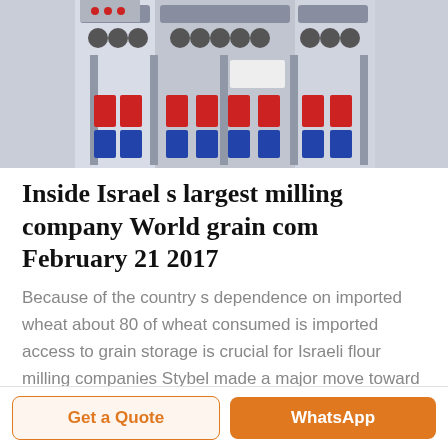[Figure (photo): Industrial milling machine equipment with mechanical components, rollers, and red/blue labeled parts visible in a factory setting]
Inside Israel s largest milling company World grain com February 21 2017
Because of the country s dependence on imported wheat about 80 of wheat consumed is imported access to grain storage is crucial for Israeli flour milling companies Stybel made a major move toward enhancing its grain storage position in 1999 with the acquisition out of bankruptcy of a large grain elevator Haifa Silo in the northern port city